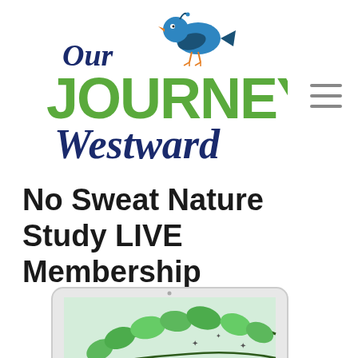[Figure (logo): Our Journey Westward logo with a blue bird and green/navy script text]
No Sweat Nature Study LIVE Membership
[Figure (photo): Tablet device displaying green leafy branches with star decorations]